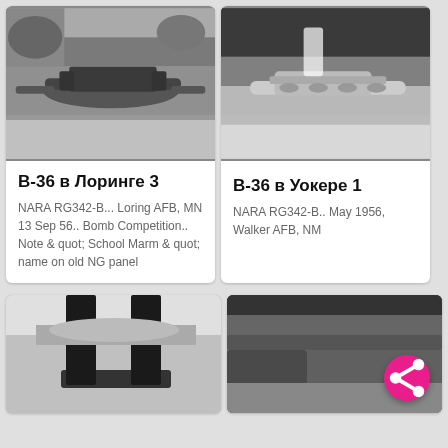[Figure (photo): Black and white archival photo of a B-36 bomber aircraft on the ground at Loring AFB]
В-36 в Лоринге 3
NARA RG342-B... Loring AFB, MN 13 Sep 56.. Bomb Competition.. Note & quot; School Marm & quot; name on old NG panel
[Figure (photo): Black and white archival photo of a B-36 bomber aircraft at Walker AFB, NM, May 1956]
В-36 в Уокере 1
NARA RG342-B.. May 1956, Walker AFB, NM
[Figure (photo): Black and white close-up photo of aircraft undercarriage or landing gear]
[Figure (photo): Black and white photo of aircraft fuselage or wing detail]